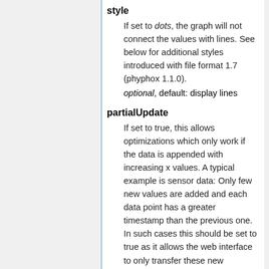style
If set to dots, the graph will not connect the values with lines. See below for additional styles introduced with file format 1.7 (phyphox 1.1.0).
optional, default: display lines
partialUpdate
If set to true, this allows optimizations which only work if the data is appended with increasing x values. A typical example is sensor data: Only few new values are added and each data point has a greater timestamp than the previous one. In such cases this should be set to true as it allows the web interface to only transfer these new datapoints.
optional, default: false
history
The number of graphs to be shown.